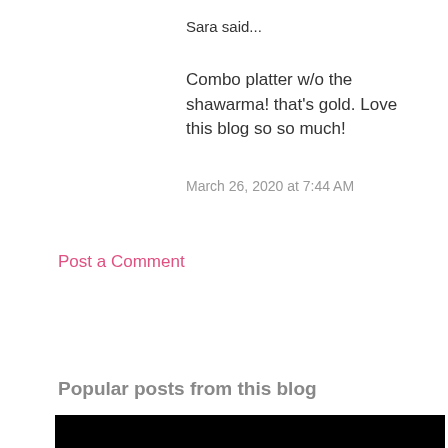Sara said...
Combo platter w/o the shawarma! that's gold. Love this blog so so much!
March 26, 2020 at 7:44 AM
Post a Comment
Popular posts from this blog
[Figure (photo): Black image placeholder for a blog post thumbnail]